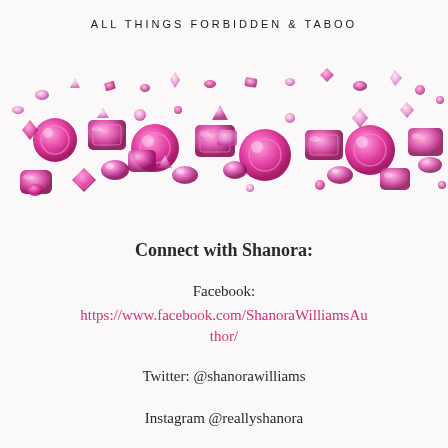ALL THINGS FORBIDDEN & TABOO
[Figure (illustration): A decorative band of pink/magenta gemstones and crystals of various cuts and sizes scattered across the width of the page]
Connect with Shanora:
Facebook:
https://www.facebook.com/ShanoraWilliamsAuthor/
Twitter: @shanorawilliams
Instagram @reallyshanora